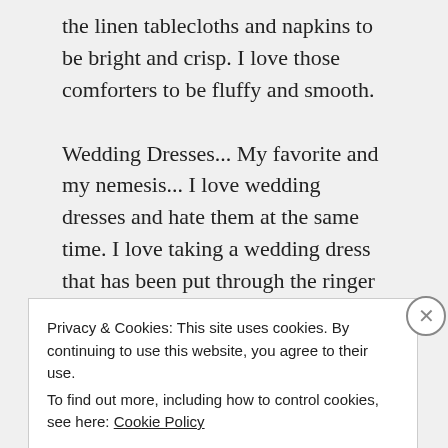the linen tablecloths and napkins to be bright and crisp. I love those comforters to be fluffy and smooth.
Wedding Dresses... My favorite and my nemesis... I love wedding dresses and hate them at the same time. I love taking a wedding dress that has been put through the ringer and making it look almost if not new again! But there are those dresses that sometimes make that an impossible task. Silk
Privacy & Cookies: This site uses cookies. By continuing to use this website, you agree to their use.
To find out more, including how to control cookies, see here: Cookie Policy